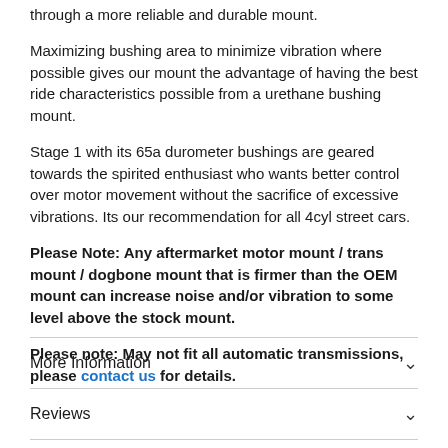through a more reliable and durable mount.
Maximizing bushing area to minimize vibration where possible gives our mount the advantage of having the best ride characteristics possible from a urethane bushing mount.
Stage 1 with its 65a durometer bushings are geared towards the spirited enthusiast who wants better control over motor movement without the sacrifice of excessive vibrations. Its our recommendation for all 4cyl street cars.
Please Note: Any aftermarket motor mount / trans mount / dogbone mount that is firmer than the OEM mount can increase noise and/or vibration to some level above the stock mount.
Please note: May not fit all automatic transmissions, please contact us for details.
More Information
Reviews